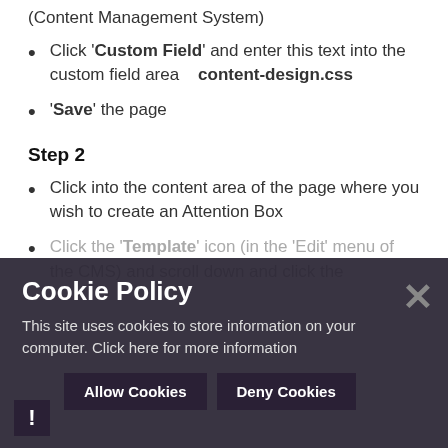(Content Management System)
Click 'Custom Field' and enter this text into the custom field area   content-design.css
'Save' the page
Step 2
Click into the content area of the page where you wish to create an Attention Box
Click the 'Template' icon (in the 'Edit' menu of the CMS) and scroll down and click the ...
[Figure (screenshot): Cookie Policy overlay banner with title 'Cookie Policy', text 'This site uses cookies to store information on your computer. Click here for more information', and two buttons: 'Allow Cookies' and 'Deny Cookies'. A close (x) button is on the right and an exclamation icon on the bottom left.]